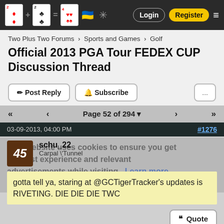Two Plus Two Forums — Login / Register
Two Plus Two Forums › Sports and Games › Golf
Official 2013 PGA Tour FEDEX CUP Discussion Thread
✏ Post Reply  🔔 Subscribe  ...
Page 52 of 294
03-09-2013, 04:00 PM  #1276  schu_22  Carpal \"Tunnel
gotta tell ya, staring at @GCTigerTracker's updates is RIVETING. DIE DIE DIE TWC